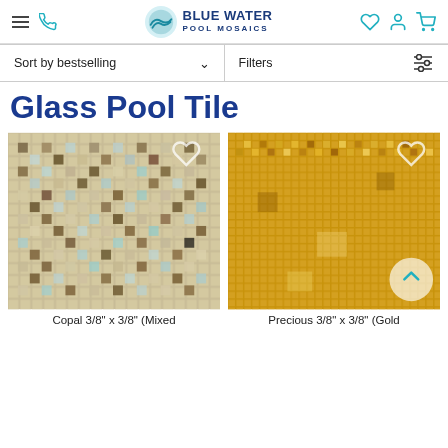Blue Water Pool Mosaics — website header with navigation: hamburger menu, phone icon, logo, heart icon, account icon, cart icon
Sort by bestselling  ∨   |   Filters
Glass Pool Tile
[Figure (photo): Mosaic tile product photo: Copal 3/8" x 3/8" mixed glass pool tile in beige, tan, and light blue tones]
[Figure (photo): Mosaic tile product photo: Precious 3/8" x 3/8" gold glass pool tile in warm golden tones]
Copal 3/8" x 3/8" (Mixed
Precious 3/8" x 3/8" (Gold